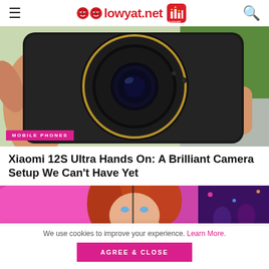lowyat.net
[Figure (photo): Hand holding Xiaomi 12S Ultra smartphone showing large circular camera module on black textured back, with MOBILE PHONES badge overlay]
Xiaomi 12S Ultra Hands On: A Brilliant Camera Setup We Can't Have Yet
[Figure (photo): Partial view of a second article image showing a woman with red hair on a colorful background]
We use cookies to improve your experience. Learn More.
AGREE & CLOSE